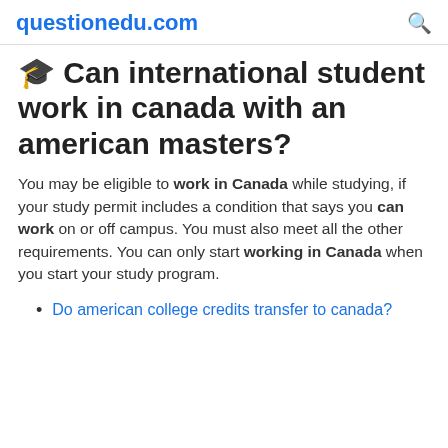questionedu.com
🎓 Can international student work in canada with an american masters?
You may be eligible to work in Canada while studying, if your study permit includes a condition that says you can work on or off campus. You must also meet all the other requirements. You can only start working in Canada when you start your study program.
Do american college credits transfer to canada?